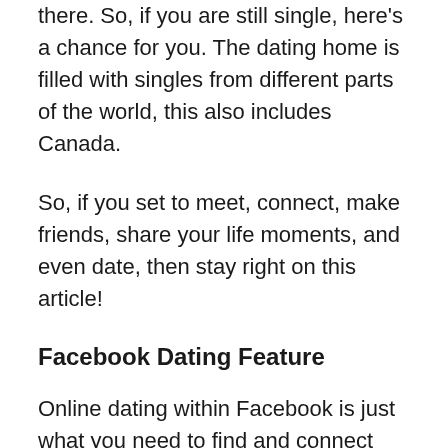there. So, if you are still single, here's a chance for you. The dating home is filled with singles from different parts of the world, this also includes Canada.
So, if you set to meet, connect, make friends, share your life moments, and even date, then stay right on this article!
Facebook Dating Feature
Online dating within Facebook is just what you need to find and connect with other singles. Right now, the Dating on Facebook